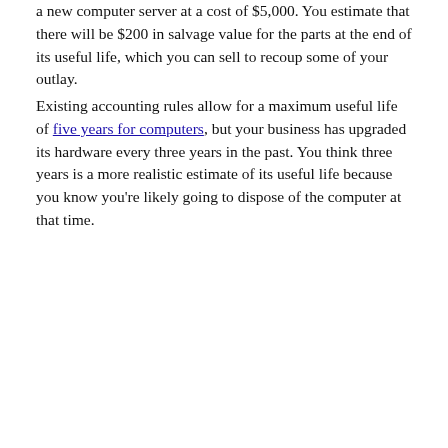a new computer server at a cost of $5,000. You estimate that there will be $200 in salvage value for the parts at the end of its useful life, which you can sell to recoup some of your outlay.
Existing accounting rules allow for a maximum useful life of five years for computers, but your business has upgraded its hardware every three years in the past. You think three years is a more realistic estimate of its useful life because you know you're likely going to dispose of the computer at that time.